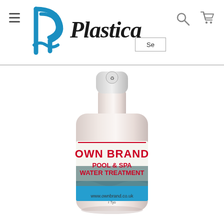Plastica — navigation header with hamburger menu, search icon, cart icon, and search input box showing 'Se'
[Figure (photo): Product photo of a white plastic bottle labeled 'OWN BRAND POOL & SPA WATER TREATMENT' with a scenic pool/beach image on the label and www.ownbrand.co.uk URL at the bottom. The bottle has a white cap with a recycling symbol on top.]